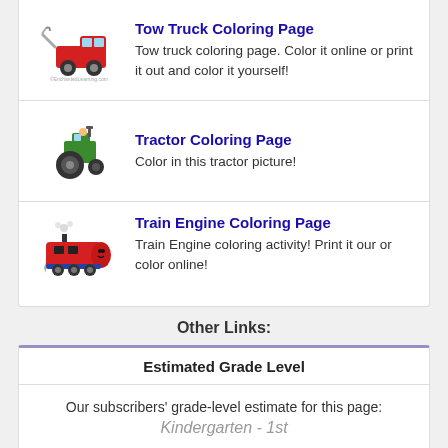Tow Truck Coloring Page — Tow truck coloring page. Color it online or print it out and color it yourself!
Tractor Coloring Page — Color in this tractor picture!
Train Engine Coloring Page — Train Engine coloring activity! Print it our or color online!
Other Links:
| Estimated Grade Level |
| --- |
| Our subscribers' grade-level estimate for this page: | Kindergarten - 1st |